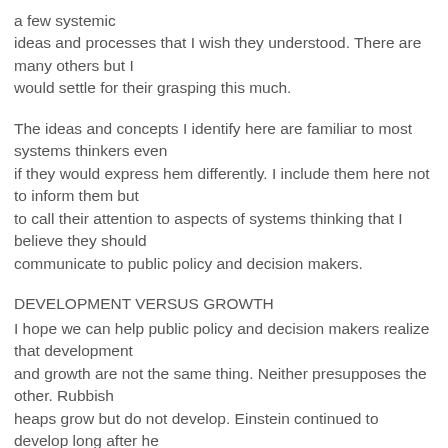a few systemic ideas and processes that I wish they understood. There are many others but I would settle for their grasping this much.
The ideas and concepts I identify here are familiar to most systems thinkers even if they would express hem differently. I include them here not to inform them but to call their attention to aspects of systems thinking that I believe they should communicate to public policy and decision makers.
DEVELOPMENT VERSUS GROWTH
I hope we can help public policy and decision makers realize that development and growth are not the same thing. Neither presupposes the other. Rubbish heaps grow but do not develop. Einstein continued to develop long after he stopped growing. Some nations grow larger without developing, and others